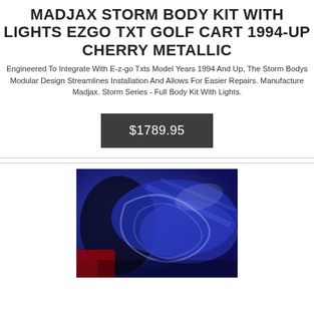MADJAX STORM BODY KIT WITH LIGHTS EZGO TXT GOLF CART 1994-UP CHERRY METALLIC
Engineered To Integrate With E-z-go Txts Model Years 1994 And Up, The Storm Bodys Modular Design Streamlines Installation And Allows For Easier Repairs. Manufacture Madjax. Storm Series - Full Body Kit With Lights.
$1789.95
[Figure (photo): Photo of a deep blue metallic golf cart body kit with decorative swirl accents, shown partially assembled or packaged, with red accents visible in the background.]